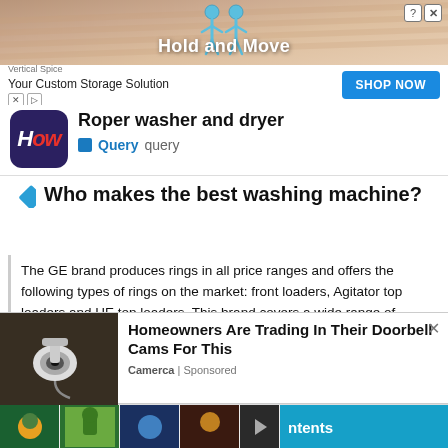[Figure (screenshot): Top advertisement banner showing a mobile game 'Hold and Move' with stick figures and a close button]
[Figure (screenshot): Second advertisement for Vertical Spice 'Your Custom Storage Solution' with a blue SHOP NOW button]
[Figure (logo): How.com logo - dark navy rounded rectangle with 'How' text in white/red]
Roper washer and dryer
Query  query
Who makes the best washing machine?
The GE brand produces rings in all price ranges and offers the following types of rings on the market: front loaders, Agitator top loaders and HE top loaders. This brand covers a wide range of washing machine prices in the Kenmore and Kenmore Elite brands. They are sold at Sears, Kmart
[Figure (photo): Photo of a security camera or doorbell cam mounted on a wall]
Homeowners Are Trading In Their Doorbell Cams For This
Camerca | Sponsored
[Figure (screenshot): Bottom strip showing thumbnails of mobile games and a teal 'ntents' button]